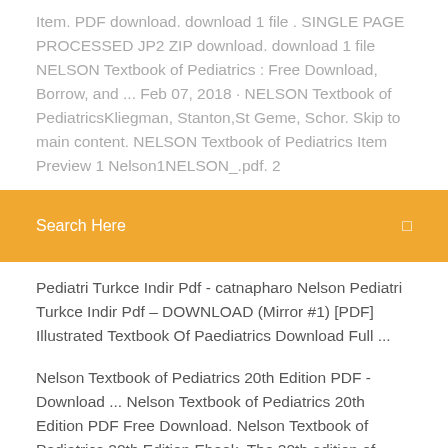Item. PDF download. download 1 file . SINGLE PAGE PROCESSED JP2 ZIP download. download 1 file NELSON Textbook of Pediatrics : Free Download, Borrow, and ... Feb 07, 2018 · NELSON Textbook of PediatricsKliegman, Stanton,St Geme, Schor. Skip to main content. NELSON Textbook of Pediatrics Item Preview 1 Nelson1NELSON_.pdf. 2
Search Here
Pediatri Turkce Indir Pdf - catnapharo Nelson Pediatri Turkce Indir Pdf – DOWNLOAD (Mirror #1) [PDF] Illustrated Textbook Of Paediatrics Download Full ...
Nelson Textbook of Pediatrics 20th Edition PDF - Download ... Nelson Textbook of Pediatrics 20th Edition PDF Free Download. Nelson Textbook of Pediatrics 20th Edition Ebook. The 20th edition of Nelson Textbook of Pediatrics continues in its tradition. of being an essential resource for pediatricians as they diagnose. and treat the infants. children. and adolescents.